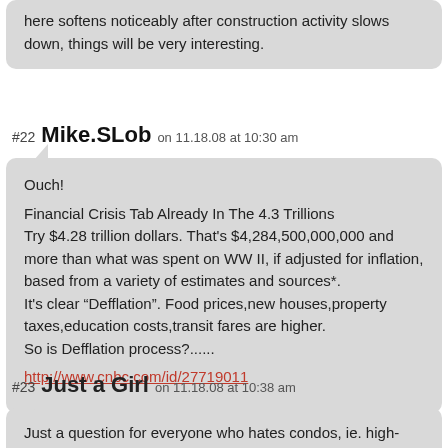here softens noticeably after construction activity slows down, things will be very interesting.
#22 Mike.SLob on 11.18.08 at 10:30 am
Ouch!

Financial Crisis Tab Already In The 4.3 Trillions
Try $4.28 trillion dollars. That's $4,284,500,000,000 and more than what was spent on WW II, if adjusted for inflation, based from a variety of estimates and sources*.
It's clear “Defflation”. Food prices,new houses,property taxes,education costs,transit fares are higher.
So is Defflation process?......

http://www.cnbc.com/id/27719011
#23 Just a Girl on 11.18.08 at 10:38 am
Just a question for everyone who hates condos, ie. high-density living. Not